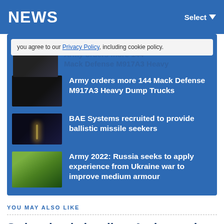NEWS
you agree to our Privacy Policy, including cookie policy.
Army orders more 144 Mack Defense M917A3 Heavy Dump Trucks
BAE Systems recruited to provide ballistic missile seekers
Army 2022: Russia seeks to apply experience from Ukraine war to improve medium armour
YOU MAY ALSO LIKE
Switzerland shortlists Archer and